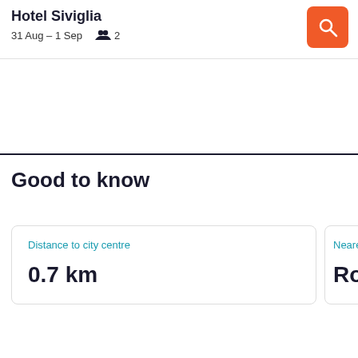Hotel Siviglia
31 Aug – 1 Sep   👥 2
Good to know
Distance to city centre
0.7 km
Neare
Ron